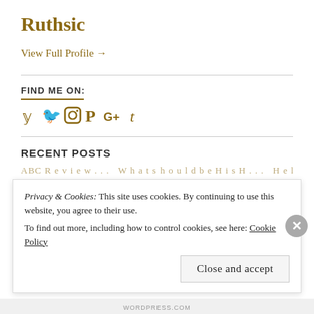Ruthsic
View Full Profile →
FIND ME ON:
[Figure (infographic): Social media icons for Twitter, Instagram, Pinterest, Google+, and Tumblr in golden/brown color]
RECENT POSTS
ABC Review... What should be His H... Help Bi...
Privacy & Cookies: This site uses cookies. By continuing to use this website, you agree to their use. To find out more, including how to control cookies, see here: Cookie Policy
Close and accept